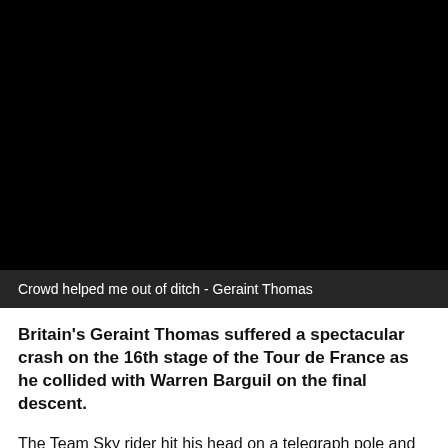[Figure (photo): Black video player frame, no visible content — blank/dark video thumbnail]
Crowd helped me out of ditch - Geraint Thomas
Britain's Geraint Thomas suffered a spectacular crash on the 16th stage of the Tour de France as he collided with Warren Barguil on the final descent.
The Team Sky rider hit his head on a telegraph pole and fell off the side of the road but was soon back on his